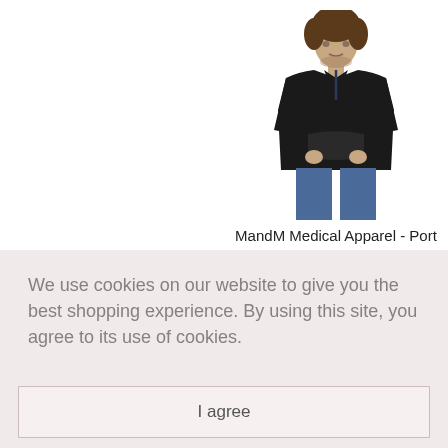[Figure (photo): Man wearing a black port access sweater/cardigan, standing against white background, showing the front of the garment with kangaroo pockets]
MandM Medical Apparel - Port & Central Access Sweater for Hemodialysis &
Chemo Cozy Cozy
We use cookies on our website to give you the best shopping experience. By using this site, you agree to its use of cookies.
I agree